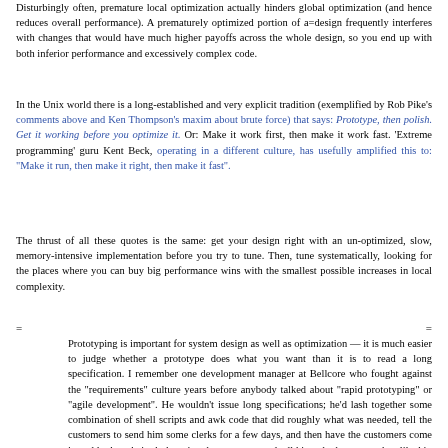Disturbingly often, premature local optimization actually hinders global optimization (and hence reduces overall performance). A prematurely optimized portion of a=design frequently interferes with changes that would have much higher payoffs across the whole design, so you end up with both inferior performance and excessively complex code.
In the Unix world there is a long-established and very explicit tradition (exemplified by Rob Pike's comments above and Ken Thompson's maxim about brute force) that says: Prototype, then polish. Get it working before you optimize it. Or: Make it work first, then make it work fast. 'Extreme programming' guru Kent Beck, operating in a different culture, has usefully amplified this to: "Make it run, then make it right, then make it fast".
The thrust of all these quotes is the same: get your design right with an un-optimized, slow, memory-intensive implementation before you try to tune. Then, tune systematically, looking for the places where you can buy big performance wins with the smallest possible increases in local complexity.
Prototyping is important for system design as well as optimization — it is much easier to judge whether a prototype does what you want than it is to read a long specification. I remember one development manager at Bellcore who fought against the "requirements" culture years before anybody talked about "rapid prototyping" or "agile development". He wouldn't issue long specifications; he'd lash together some combination of shell scripts and awk code that did roughly what was needed, tell the customers to send him some clerks for a few days, and then have the customers come in and look at their clerks using the prototype and tell him whether or not they liked it. If they did, he would say "you can have it industrial strength so-many-months from now at such-and-such cost". His estimates tended to be